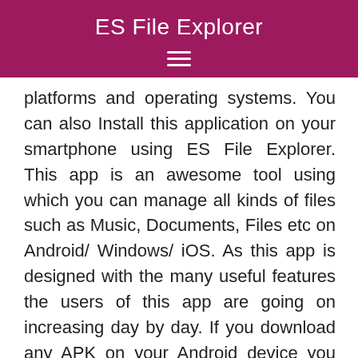ES File Explorer
platforms and operating systems. You can also Install this application on your smartphone using ES File Explorer. This app is an awesome tool using which you can manage all kinds of files such as Music, Documents, Files etc on Android/ Windows/ iOS. As this app is designed with the many useful features the users of this app are going on increasing day by day. If you download any APK on your Android device you need a File Manager to Install it.